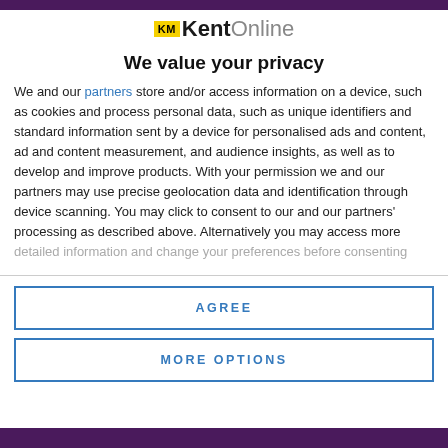KM KentOnline
We value your privacy
We and our partners store and/or access information on a device, such as cookies and process personal data, such as unique identifiers and standard information sent by a device for personalised ads and content, ad and content measurement, and audience insights, as well as to develop and improve products. With your permission we and our partners may use precise geolocation data and identification through device scanning. You may click to consent to our and our partners' processing as described above. Alternatively you may access more detailed information and change your preferences before consenting
AGREE
MORE OPTIONS